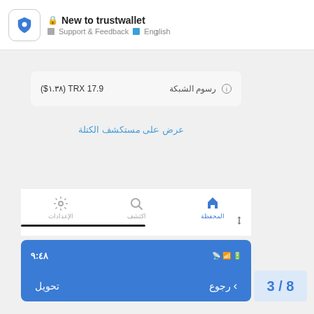New to trustwallet — Support & Feedback — English
رسوم الشبكة — 17.9 TRX (١.٣٨$)
عرض على مستكشف الكتلة
المحفظة — اكتشف — الإعدادات
٩:٤٨
رجوع > — تحويل
3 / 8